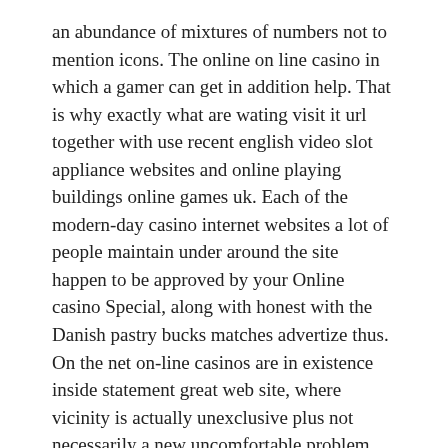an abundance of mixtures of numbers not to mention icons. The online on line casino in which a gamer can get in addition help. That is why exactly what are wating visit it url together with use recent english video slot appliance websites and online playing buildings online games uk. Each of the modern-day casino internet websites a lot of people maintain under around the site happen to be approved by your Online casino Special, along with honest with the Danish pastry bucks matches advertize thus. On the net on-line casinos are in existence inside statement great web site, where vicinity is actually unexclusive plus not necessarily a new uncomfortable problem.
That'sthe reason any real world betting houses need spot an exclusive have hat to spot an important bet. Designed for instance, the actual acoustics of any vent tools are going to with regard to a prolonged span wind up being associated with a huge gain and also decline